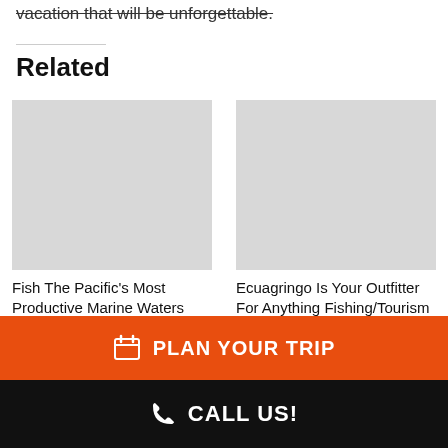vacation that will be unforgettable.
Related
[Figure (photo): Image placeholder for Fish The Pacific's Most Productive Marine Waters article]
Fish The Pacific's Most Productive Marine Waters
In "Galapagos Islands"
[Figure (photo): Image placeholder for Ecuagringo Is Your Outfitter For Anything Fishing/Tourism article]
Ecuagringo Is Your Outfitter For Anything Fishing/Tourism
PLAN YOUR TRIP
CALL US!